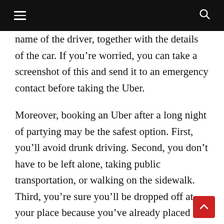≡  🔍
name of the driver, together with the details of the car. If you're worried, you can take a screenshot of this and send it to an emergency contact before taking the Uber.
Moreover, booking an Uber after a long night of partying may be the safest option. First, you'll avoid drunk driving. Second, you don't have to be left alone, taking public transportation, or walking on the sidewalk. Third, you're sure you'll be dropped off at your place because you've already placed the information on the app.